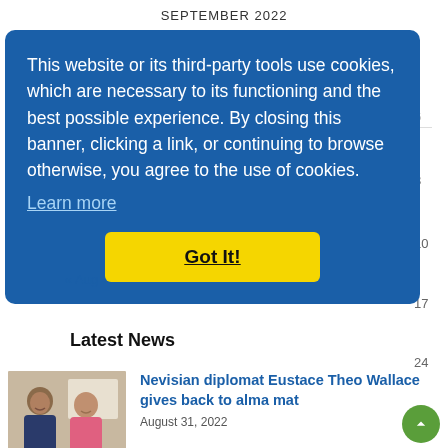SEPTEMBER 2022
This website or its third-party tools use cookies, which are necessary to its functioning and the best possible experience. By closing this banner, clicking a link, or continuing to browse otherwise, you agree to the use of cookies.
Learn more
Got It!
« Aug
Latest News
[Figure (photo): Two people smiling, a man and a woman, in what appears to be an indoor setting]
Nevisian diplomat Eustace Theo Wallace gives back to alma mat
August 31, 2022